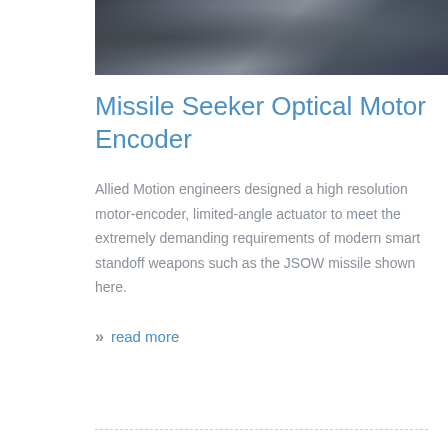[Figure (photo): Photograph of military personnel or equipment related to JSOW missile, shown in a cropped horizontal banner at the top of the page]
Missile Seeker Optical Motor Encoder
Allied Motion engineers designed a high resolution motor-encoder, limited-angle actuator to meet the extremely demanding requirements of modern smart standoff weapons such as the JSOW missile shown here.
read more